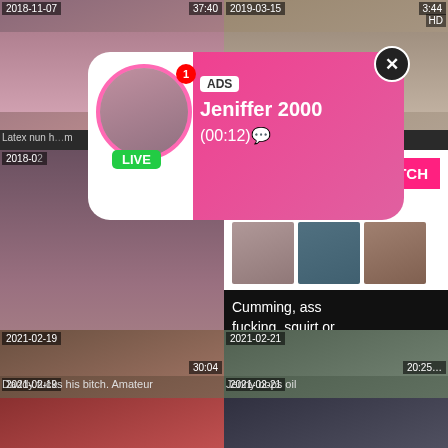[Figure (screenshot): Adult video thumbnail grid page with overlay ads. Top-left thumbnail dated 2018-11-07, top-right dated 2019-03-15 (3:44). Notification bubble overlay showing ADS / Jeniffer 2000 / (00:12) with LIVE badge. Mid-section shows large video thumbnail on left and ad panel on right with WHAT DO YOU WANT? / WATCH button / Online indicator / mini thumbnails / Cumming, ass fucking, squirt or... / ADS. Bottom row: left thumb dated 2021-02-19 (30:04) titled Daddy fucks his bitch. Amateur; right thumb dated 2021-02-21 (20:25) titled Jenny oops oil. Bottom partial row of two more thumbnails.]